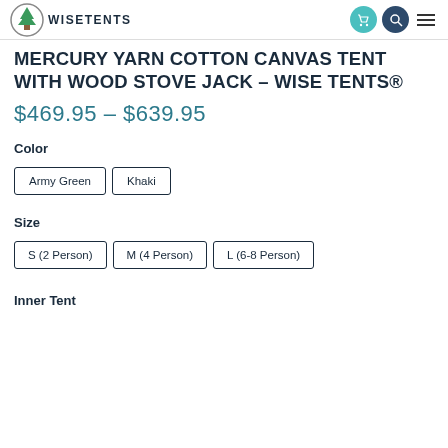WISE TENTS
MERCURY YARN COTTON CANVAS TENT WITH WOOD STOVE JACK – WISE TENTS®
$469.95 – $639.95
Color
Army Green
Khaki
Size
S (2 Person)
M (4 Person)
L (6-8 Person)
Inner Tent